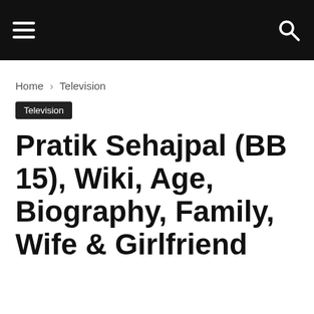Navigation bar with hamburger menu and search icon
Home › Television
Television
Pratik Sehajpal (BB 15), Wiki, Age, Biography, Family, Wife & Girlfriend